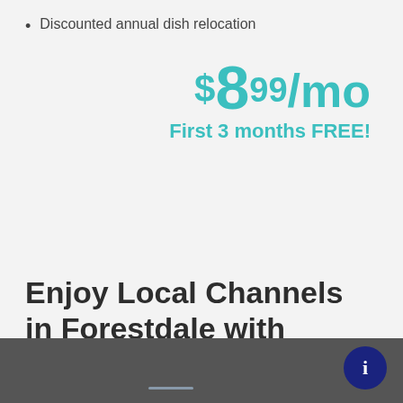Discounted annual dish relocation
$8.99/mo First 3 months FREE!
Enjoy Local Channels in Forestdale with DIRECTV from Viasat